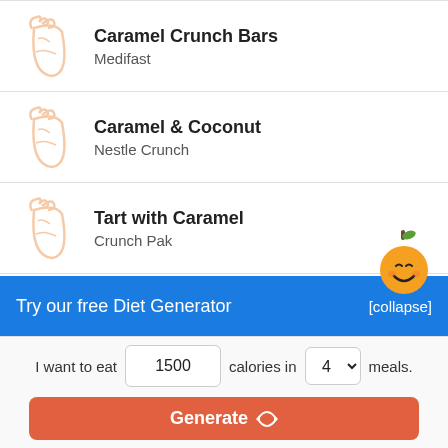Caramel Crunch Bars — Medifast
Caramel & Coconut — Nestle Crunch
Tart with Caramel — Crunch Pak
Caramel Crunch — MegaLoad
Try our free Diet Generator [collapse]
I want to eat 1500 calories in 4 meals.
Generate